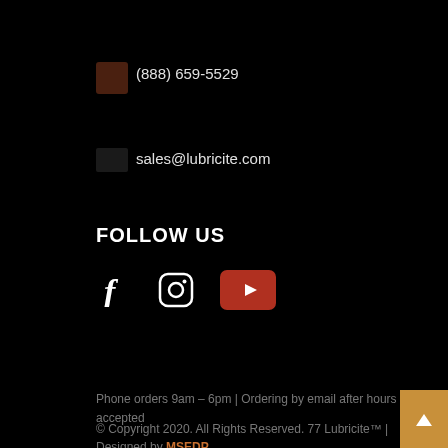(888) 659-5529
sales@lubricite.com
FOLLOW US
[Figure (illustration): Social media icons: Facebook (f), Instagram (circle with camera icon), YouTube (red rounded rectangle with play button)]
Phone orders 9am – 6pm | Ordering  by email after hours accepted
© Copyright 2020. All Rights Reserved. 77 Lubricite™ | Designed by MSEDP